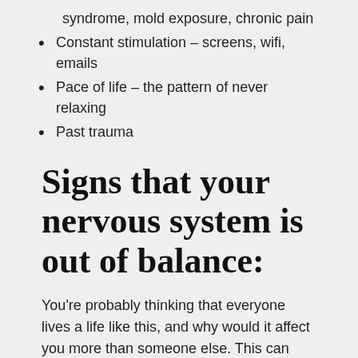syndrome, mold exposure, chronic pain
Constant stimulation – screens, wifi, emails
Pace of life – the pattern of never relaxing
Past trauma
Signs that your nervous system is out of balance:
You're probably thinking that everyone lives a life like this, and why would it affect you more than someone else. This can depend on the